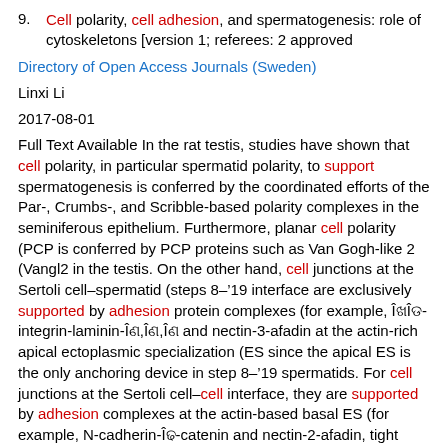9. Cell polarity, cell adhesion, and spermatogenesis: role of cytoskeletons [version 1; referees: 2 approved
Directory of Open Access Journals (Sweden)
Linxi Li
2017-08-01
Full Text Available In the rat testis, studies have shown that cell polarity, in particular spermatid polarity, to support spermatogenesis is conferred by the coordinated efforts of the Par-, Crumbs-, and Scribble-based polarity complexes in the seminiferous epithelium. Furthermore, planar cell polarity (PCP is conferred by PCP proteins such as Van Gogh-like 2 (Vangl2 in the testis. On the other hand, cell junctions at the Sertoli cell–spermatid (steps 8–’19 interface are exclusively supported by adhesion protein complexes (for example, Î±6Î²1-integrin-laminin-Î²3,Î²3,Î²3 and nectin-3-afadin at the actin-rich apical ectoplasmic specialization (ES since the apical ES is the only anchoring device in step 8–’19 spermatids. For cell junctions at the Sertoli cell–cell interface, they are supported by adhesion complexes at the actin-based basal ES (for example, N-cadherin-Î²2-catenin and nectin-2-afadin, tight